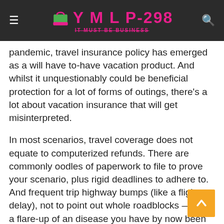YMLP-298 IT MUST BE BUSINESS
Actively considering the fact that the COVID-19 pandemic, travel insurance policy has emerged as a will have to-have vacation product. And whilst it unquestionably could be beneficial protection for a lot of forms of outings, there's a lot about vacation insurance that will get misinterpreted.
In most scenarios, travel coverage does not equate to computerized refunds. There are commonly oodles of paperwork to file to prove your scenario, plus rigid deadlines to adhere to. And frequent trip highway bumps (like a flight delay), not to point out whole roadblocks — like a flare-up of an disease you have by now been identified with — are not generally lined.
Here are 6 popular vacation insurance plan myths